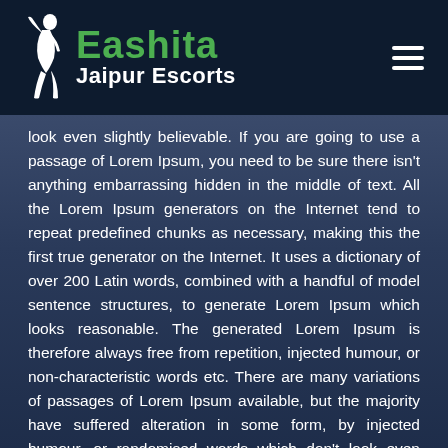Eashita Jaipur Escorts
look even slightly believable. If you are going to use a passage of Lorem Ipsum, you need to be sure there isn't anything embarrassing hidden in the middle of text. All the Lorem Ipsum generators on the Internet tend to repeat predefined chunks as necessary, making this the first true generator on the Internet. It uses a dictionary of over 200 Latin words, combined with a handful of model sentence structures, to generate Lorem Ipsum which looks reasonable. The generated Lorem Ipsum is therefore always free from repetition, injected humour, or non-characteristic words etc. There are many variations of passages of Lorem Ipsum available, but the majority have suffered alteration in some form, by injected humour, or randomised words which don't look even slightly believable. If you are going to use a passage of Lorem Ipsum, you need to be sure there isn't